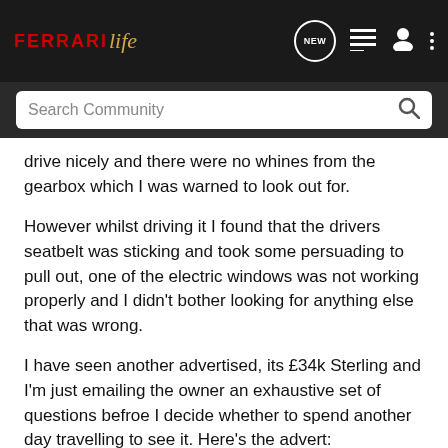[Figure (screenshot): Ferrari Life community website navigation bar with logo, NEW chat bubble icon, list icon, user icon, and three-dot menu icon on dark background]
[Figure (screenshot): Search Community search bar with magnifying glass icon on dark gray background]
drive nicely and there were no whines from the gearbox which I was warned to look out for.
However whilst driving it I found that the drivers seatbelt was sticking and took some persuading to pull out, one of the electric windows was not working properly and I didn't bother looking for anything else that was wrong.
I have seen another advertised, its £34k Sterling and I'm just emailing the owner an exhaustive set of questions befroe I decide whether to spend another day travelling to see it. Here's the advert:
348 TS
RHD, 1994, Medio Blue with Crema Hide, 34,000 miles and in mint condition. ECU and injectors belted (99/99). Cat 1 Al...